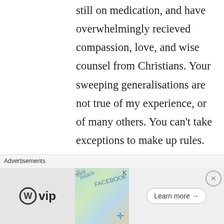still on medication, and have overwhelmingly recieved compassion, love, and wise counsel from Christians. Your sweeping generalisations are not true of my experience, or of many others. You can't take exceptions to make up rules.
★ Liked by 1 person
The Psych Talk
[Figure (screenshot): Advertisement bar at bottom of page showing WordPress VIP logo on left, colorful social media branded cards in middle, and 'Learn more →' button on right, with 'Advertisements' label and a close (X) button.]